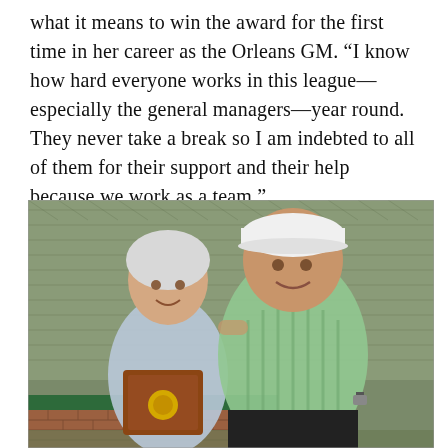what it means to win the award for the first time in her career as the Orleans GM. “I know how hard everyone works in this league—especially the general managers—year round. They never take a break so I am indebted to all of them for their support and their help because we work as a team.”
[Figure (photo): Two people standing outdoors in front of a chain-link fence. A woman with white/gray hair on the left is holding a wooden plaque with a gold medallion. A larger man on the right is wearing a white baseball cap and a green striped polo shirt. A green wall is visible at the bottom.]